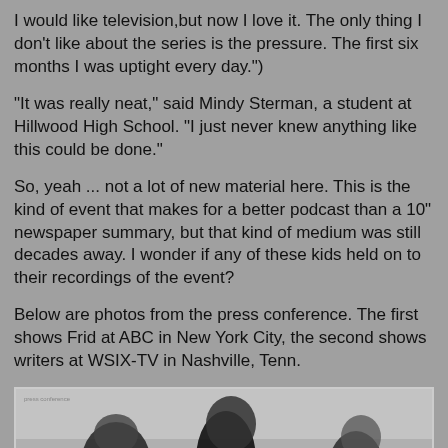I would like television,but now I love it. The only thing I don't like about the series is the pressure. The first six months I was uptight every day.")
"It was really neat," said Mindy Sterman, a student at Hillwood High School. "I just never knew anything like this could be done."
So, yeah ... not a lot of new material here. This is the kind of event that makes for a better podcast than a 10" newspaper summary, but that kind of medium was still decades away. I wonder if any of these kids held on to their recordings of the event?
Below are photos from the press conference. The first shows Frid at ABC in New York City, the second shows writers at WSIX-TV in Nashville, Tenn.
[Figure (photo): Black and white photo from a press conference showing people seated, partially visible at the bottom of the page.]